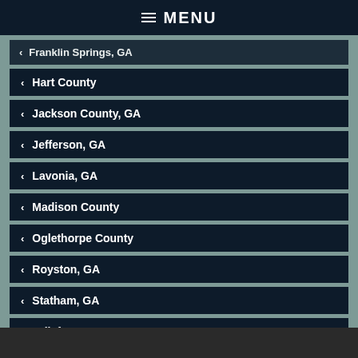MENU
Franklin Springs, GA
Hart County
Jackson County, GA
Jefferson, GA
Lavonia, GA
Madison County
Oglethorpe County
Royston, GA
Statham, GA
Taliaferro County
Wilkes County
Winder, GA